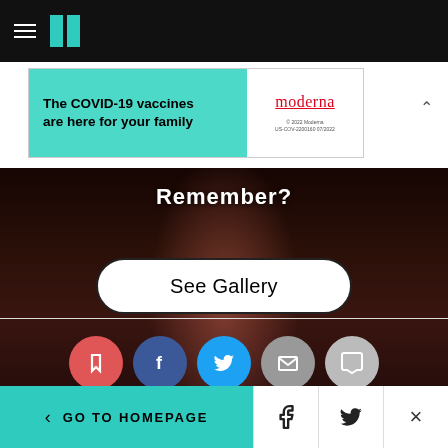HuffPost navigation bar with hamburger menu and logo
[Figure (screenshot): Advertisement banner for Moderna COVID-19 vaccines: teal left panel reading 'The COVID-19 vaccines are here for your family', white right panel with Moderna logo, copyright 2022 Moderna, US-COV-2200160 07/2022]
[Figure (photo): Celebrity photo gallery image with 'Remember?' overlay text and a 'See Gallery' button in the center]
[Figure (infographic): Social share buttons row: bookmark (red), Facebook (blue), Twitter (light blue), email (grey), comment (light grey)]
< GO TO HOMEPAGE | Facebook share | Twitter share | Close (X)